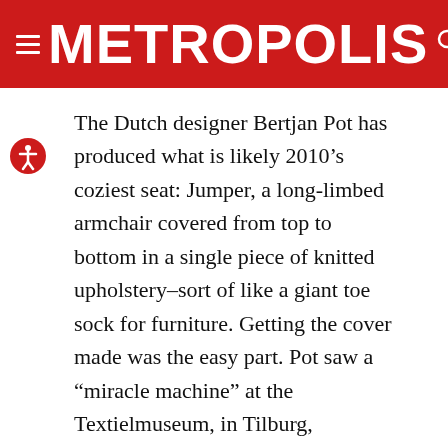METROPOLIS
The Dutch designer Bertjan Pot has produced what is likely 2010’s coziest seat: Jumper, a long-limbed armchair covered from top to bottom in a single piece of knitted upholstery–sort of like a giant toe sock for furniture. Getting the cover made was the easy part. Pot saw a “miracle machine” at the Textielmuseum, in Tilburg, Holland, that can knit wool sweaters in a single pass, with no additional stitching needed. (Made by the German company Stoll, it’s called the Knit & Wear machine.) A